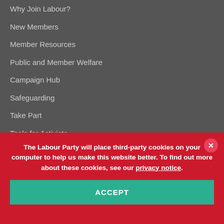Why Join Labour?
New Members
Member Resources
Public and Member Welfare
Campaign Hub
Safeguarding
Take Part
Tools for Activists
QUICK LINKS
Contact
The Labour Party will place third-party cookies on your computer to help us make this website better. To find out more about these cookies, see our privacy notice.
ACCEPT